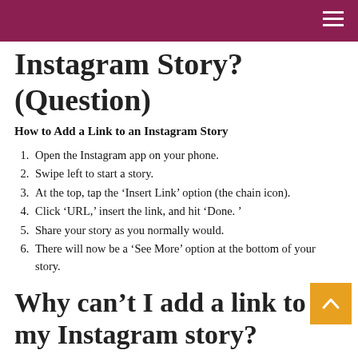Instagram Story? (Question)
How to Add a Link to an Instagram Story
Open the Instagram app on your phone.
Swipe left to start a story.
At the top, tap the ‘Insert Link’ option (the chain icon).
Click ‘URL,’ insert the link, and hit ‘Done. ’
Share your story as you normally would.
There will now be a ‘See More’ option at the bottom of your story.
Why can’t I add a link to my Instagram story?